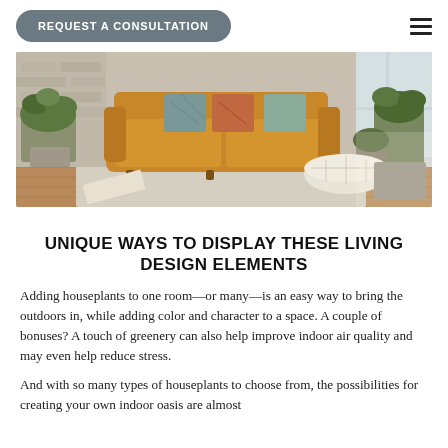REQUEST A CONSULTATION
[Figure (photo): Interior living room scene with a tan leather sofa, decorative throw pillows (teal, rust, and patterned), surrounded by houseplants in concrete pots, a white moroccan pouf, and a light wood floor with a neutral rug.]
UNIQUE WAYS TO DISPLAY THESE LIVING DESIGN ELEMENTS
Adding houseplants to one room—or many—is an easy way to bring the outdoors in, while adding color and character to a space. A couple of bonuses? A touch of greenery can also help improve indoor air quality and may even help reduce stress.
And with so many types of houseplants to choose from, the possibilities for creating your own indoor oasis are almost